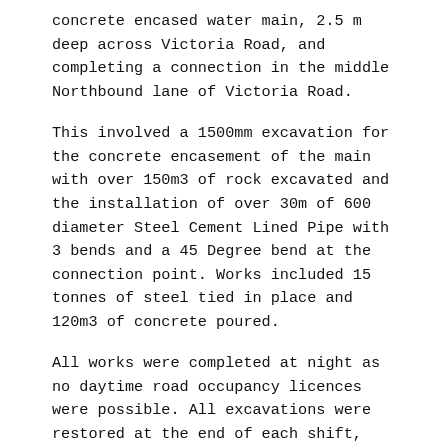concrete encased water main, 2.5 m deep across Victoria Road, and completing a connection in the middle Northbound lane of Victoria Road.
This involved a 1500mm excavation for the concrete encasement of the main with over 150m3 of rock excavated and the installation of over 30m of 600 diameter Steel Cement Lined Pipe with 3 bends and a 45 Degree bend at the connection point. Works included 15 tonnes of steel tied in place and 120m3 of concrete poured.
All works were completed at night as no daytime road occupancy licences were possible. All excavations were restored at the end of each shift, and the high traffic road reopened every morning.
The project team developed a bespoke temporary works design that included two separate shoring systems with road plates. Each shift was carefully planned with